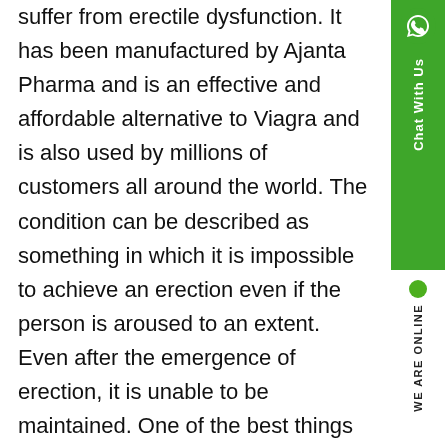suffer from erectile dysfunction. It has been manufactured by Ajanta Pharma and is an effective and affordable alternative to Viagra and is also used by millions of customers all around the world. The condition can be described as something in which it is impossible to achieve an erection even if the person is aroused to an extent. Even after the emergence of erection, it is unable to be maintained. One of the best things about this Kamagra medicine is that it is cost-effective. The customers find it affordable and a reliable product due to which the customer relationship management has been maintained. It is